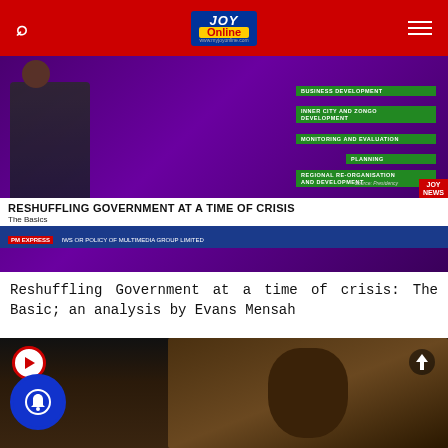JOY Online
[Figure (screenshot): TV screenshot showing 'RESHUFFLING GOVERNMENT AT A TIME OF CRISIS - The Basics' on JOY NEWS at 21:06, with a presenter standing in front of a board showing green-labeled government development categories]
Reshuffling Government at a time of crisis: The Basic; an analysis by Evans Mensah
[Figure (screenshot): Video thumbnail showing a person with a play button icon, bell notification icon, and upload arrow icon overlay]